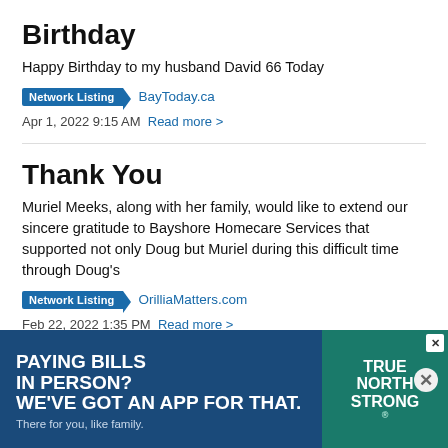Birthday
Happy Birthday to my husband David 66 Today
Network Listing  BayToday.ca
Apr 1, 2022 9:15 AM  Read more >
Thank You
Muriel Meeks, along with her family, would like to extend our sincere gratitude to Bayshore Homecare Services that supported not only Doug but Muriel during this difficult time through Doug's
Network Listing  OrilliaMatters.com
Feb 22, 2022 1:35 PM  Read more >
[Figure (infographic): Advertisement banner: blue background with text 'PAYING BILLS IN PERSON? WE'VE GOT AN APP FOR THAT. There for you, like family.' with a teal badge reading 'TRUE NORTH STRONG']